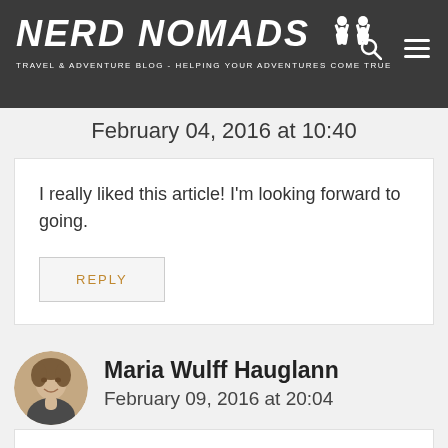NERD NOMADS - TRAVEL & ADVENTURE BLOG - HELPING YOUR ADVENTURES COME TRUE
February 04, 2016 at 10:40
I really liked this article! I'm looking forward to going.
REPLY
Maria Wulff Hauglann
February 09, 2016 at 20:04